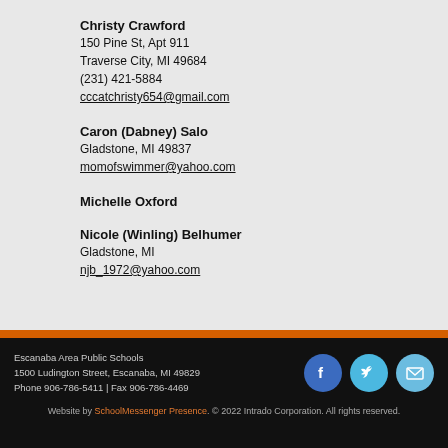Christy Crawford
150 Pine St, Apt 911
Traverse City, MI 49684
(231) 421-5884
cccatchristy654@gmail.com
Caron (Dabney) Salo
Gladstone, MI 49837
momofswimmer@yahoo.com
Michelle Oxford
Nicole (Winling) Belhumer
Gladstone, MI
njb_1972@yahoo.com
Escanaba Area Public Schools
1500 Ludington Street, Escanaba, MI 49829
Phone 906-786-5411 | Fax 906-786-4469
Website by SchoolMessenger Presence. © 2022 Intrado Corporation. All rights reserved.